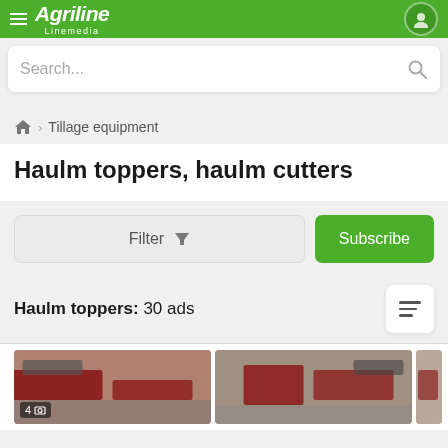Agriline Linemedia
Search...
🏠 > Tillage equipment
Haulm toppers, haulm cutters
Filter
Subscribe
Haulm toppers: 30 ads
[Figure (screenshot): Two thumbnail images of haulm topper agricultural machinery, partially visible at bottom of page. First image shows red machinery with badge '4' and camera icon.]